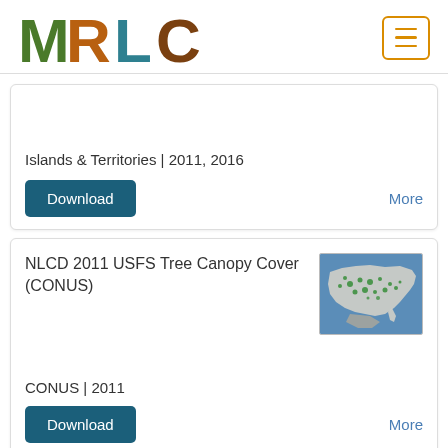MRLC
Islands & Territories | 2011, 2016
Download
More
NLCD 2011 USFS Tree Canopy Cover (CONUS)
[Figure (map): Map of the contiguous United States showing NLCD 2011 USFS Tree Canopy Cover with green dots indicating tree canopy coverage over a blue background representing water/oceans.]
CONUS | 2011
Download
More